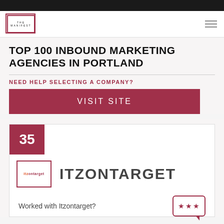THE MANIFEST
TOP 100 INBOUND MARKETING AGENCIES IN PORTLAND
NEED HELP SELECTING A COMPANY?
VISIT SITE
35
[Figure (logo): itzontarget company logo with red and orange text]
ITZONTARGET
Worked with Itzontarget?